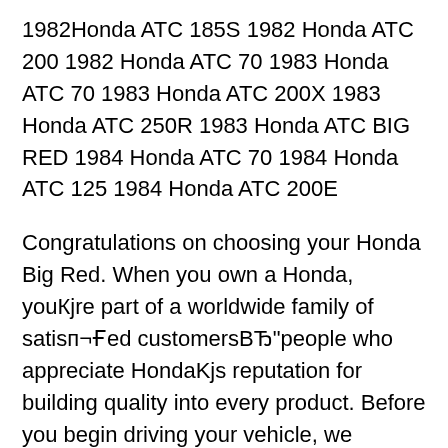1982Honda ATC 185S 1982 Honda ATC 200 1982 Honda ATC 70 1983 Honda ATC 70 1983 Honda ATC 200X 1983 Honda ATC 250R 1983 Honda ATC BIG RED 1984 Honda ATC 70 1984 Honda ATC 125 1984 Honda ATC 200E
Congratulations on choosing your Honda Big Red. When you own a Honda, youКjre part of a worldwide family of satisп¬Ғed customersBЂ“people who appreciate HondaKjs reputation for building quality into every product. Before you begin driving your vehicle, we recommend that you read this ownerKjs manual. . 1984 Honda ATC200ES Big Red Service Repair Manual DOWNLOAD 84 This is the most